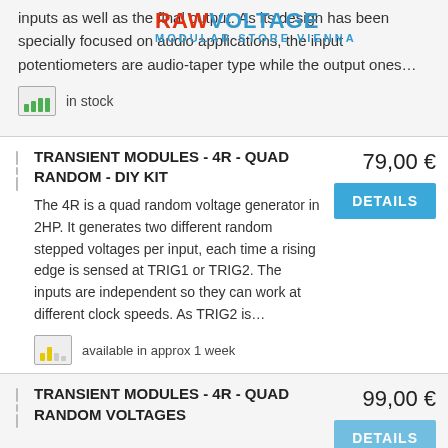RAW VOLTAGE MODULAR STORE VIENNA
inputs as well as the final output. As its design has been specially focused on audio applications, the input potentiometers are audio-taper type while the output ones…
in stock
TRANSIENT MODULES - 4R - QUAD RANDOM - DIY KIT
79,00 €
DETAILS
The 4R is a quad random voltage generator in 2HP. It generates two different random stepped voltages per input, each time a rising edge is sensed at TRIG1 or TRIG2. The inputs are independent so they can work at different clock speeds. As TRIG2 is…
available in approx 1 week
TRANSIENT MODULES - 4R - QUAD RANDOM VOLTAGES
99,00 €